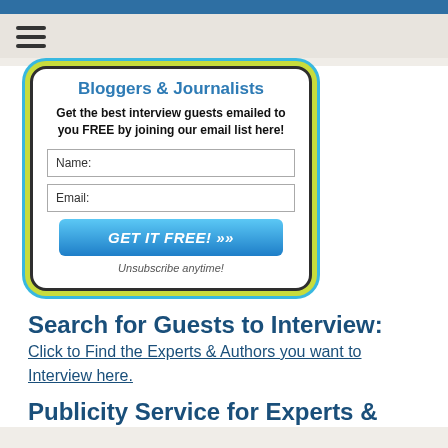[Figure (infographic): Email signup widget for Bloggers & Journalists. Contains title 'Bloggers & Journalists', subtitle 'Get the best interview guests emailed to you FREE by joining our email list here!', Name input field, Email input field, GET IT FREE button, and 'Unsubscribe anytime!' text. Widget has rounded corners with yellow-green and blue border styling.]
Search for Guests to Interview:
Click to Find the Experts & Authors you want to Interview here.
Publicity Service for Experts &